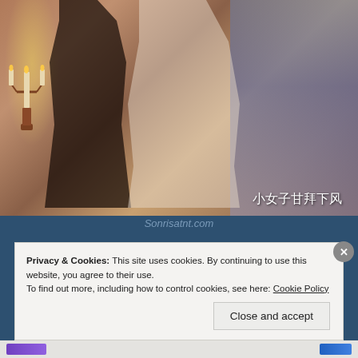[Figure (photo): Two women in traditional Chinese costumes in a decorated room with candles. Chinese text overlay reads: 小女子甘拜下风]
Sonrisatnt.com
I closed my eyes, did not get angry with her, and leisurely swayed my crossed legs back and forth, "Don't worry, once Liu He Tian Yi Sword is back, then I'll find an opportunity to kill him."
Privacy & Cookies: This site uses cookies. By continuing to use this website, you agree to their use.
To find out more, including how to control cookies, see here: Cookie Policy
Close and accept